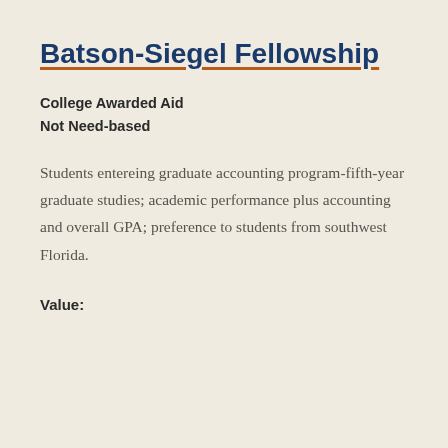Batson-Siegel Fellowship
College Awarded Aid
Not Need-based
Students entereing graduate accounting program-fifth-year graduate studies; academic performance plus accounting and overall GPA; preference to students from southwest Florida.
Value: